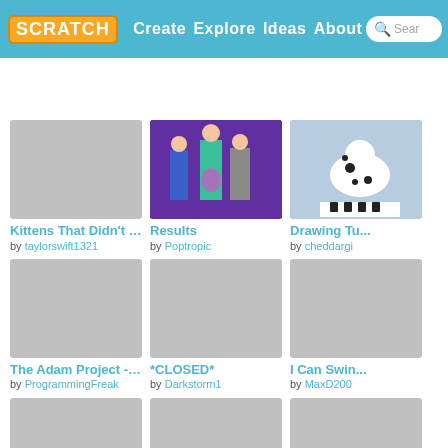SCRATCH | Create | Explore | Ideas | About | Search
[Figure (screenshot): Scratch website explore page showing a 3-column grid of project thumbnails. Row 1: 'Kittens That Didn't Hav...' by taylorswift1321, 'Results' by Poptropic (purple thumbnail), 'Drawing Tu...' by cheddargi. Row 2: 'The Adam Project - Bet...' by ProgrammingFreak, '*CLOSED*' by Darkstorm1, 'I Can Swin...' by MaxD200. Row 3: 'Music contest entry' by baseball1859, 'Another Song' by baseball1859, 'My Music' by AgentRoo. Row 4: partial thumbnails visible at bottom.]